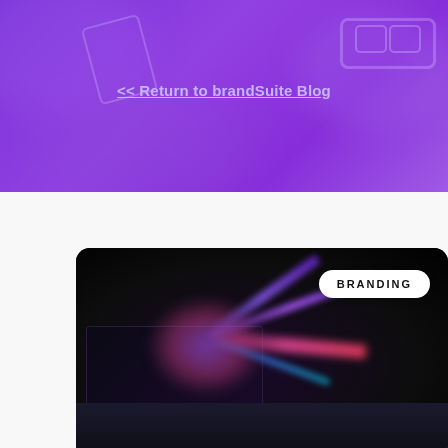[Figure (illustration): Purple-toned hero banner with blurred background showing marketing-themed items (phone, glasses, online marketing text), overlaid with a purple gradient]
<< Return to brandSuite Blog
[Figure (photo): Dark card with colorful light explosion/burst rays (purple, pink, blue) emanating from a laptop, with a BRANDING badge in the top right corner]